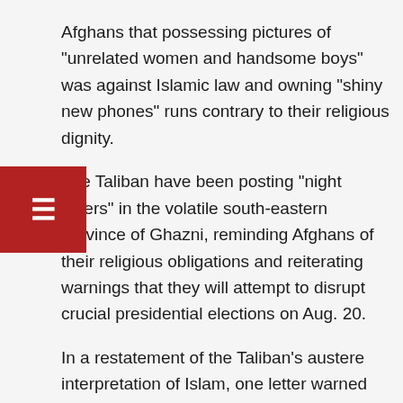Afghans that possessing pictures of "unrelated women and handsome boys" was against Islamic law and owning "shiny new phones" runs contrary to their religious dignity.
The Taliban have been posting "night letters" in the volatile south-eastern province of Ghazni, reminding Afghans of their religious obligations and reiterating warnings that they will attempt to disrupt crucial presidential elections on Aug. 20.
In a restatement of the Taliban's austere interpretation of Islam, one letter warned people, especially the young, against using hi-tech gadgets such as cell phones with photography and video functions.
"People with camera cell phones must not have pictures of unrelated women and handsome boys in their phones, which is against Islamic sharia," reads one letter, obtained by Reuters on Monday. Sharia is Islamic religious law.